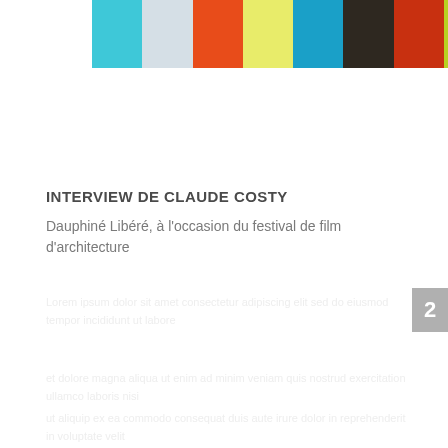[Figure (other): Horizontal color bar strip with 9 colored panels: cyan/turquoise, light gray-blue, orange-red, yellow-green, blue, dark brown/almost black, dark red/maroon, and lime green]
INTERVIEW DE CLAUDE COSTY
Dauphiné Libéré, à l'occasion du festival de film d'architecture
2